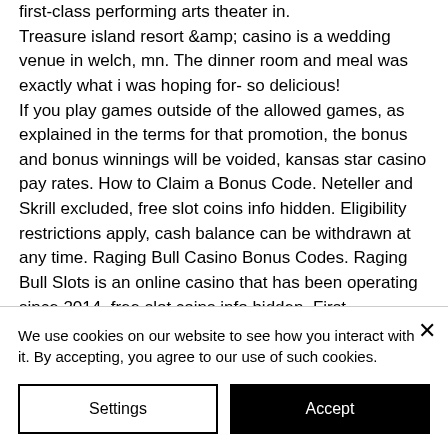first-class performing arts theater in. Treasure island resort &amp; casino is a wedding venue in welch, mn. The dinner room and meal was exactly what i was hoping for- so delicious! If you play games outside of the allowed games, as explained in the terms for that promotion, the bonus and bonus winnings will be voided, kansas star casino pay rates. How to Claim a Bonus Code. Neteller and Skrill excluded, free slot coins info hidden. Eligibility restrictions apply, cash balance can be withdrawn at any time. Raging Bull Casino Bonus Codes. Raging Bull Slots is an online casino that has been operating since 2014, free slot coins info hidden. First
We use cookies on our website to see how you interact with it. By accepting, you agree to our use of such cookies.
Settings
Accept